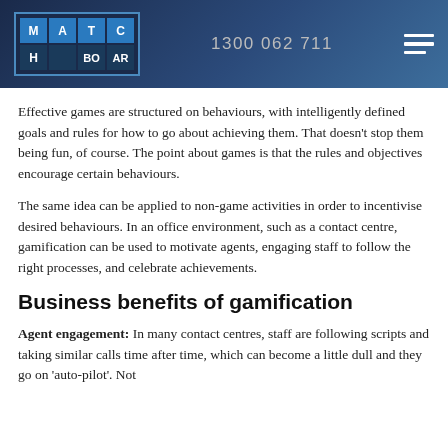MATCHBOARD | 1300 062 711
Effective games are structured on behaviours, with intelligently defined goals and rules for how to go about achieving them. That doesn't stop them being fun, of course. The point about games is that the rules and objectives encourage certain behaviours.
The same idea can be applied to non-game activities in order to incentivise desired behaviours. In an office environment, such as a contact centre, gamification can be used to motivate agents, engaging staff to follow the right processes, and celebrate achievements.
Business benefits of gamification
Agent engagement: In many contact centres, staff are following scripts and taking similar calls time after time, which can become a little dull and they go on 'auto-pilot'. Not